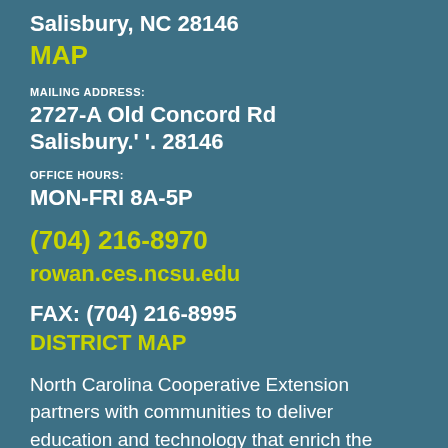Salisbury, NC 28146
MAP
MAILING ADDRESS:
2727-A Old Concord Rd
Salisbury.' '. 28146
OFFICE HOURS:
MON-FRI 8A-5P
(704) 216-8970
rowan.ces.ncsu.edu
FAX: (704) 216-8995
DISTRICT MAP
North Carolina Cooperative Extension partners with communities to deliver education and technology that enrich the lives, land, and economy of North Carolinian's.